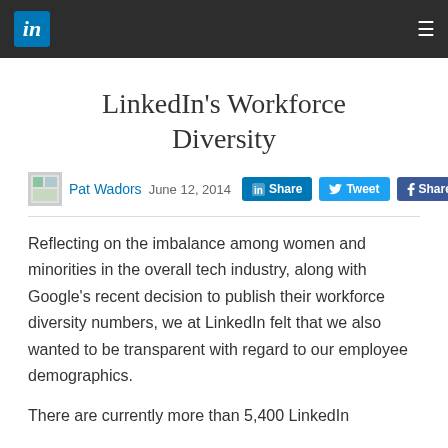LinkedIn header navigation bar
LinkedIn's Workforce Diversity
Pat Wadors  June 12, 2014
Reflecting on the imbalance among women and minorities in the overall tech industry, along with Google's recent decision to publish their workforce diversity numbers, we at LinkedIn felt that we also wanted to be transparent with regard to our employee demographics.
There are currently more than 5,400 LinkedIn